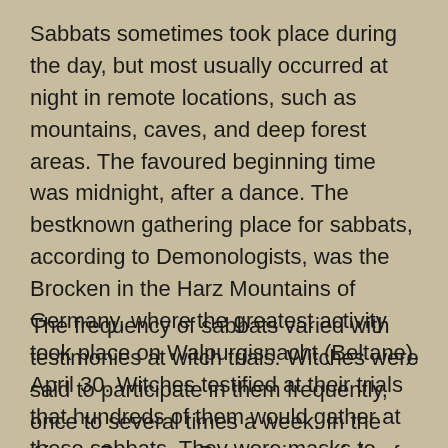Sabbats sometimes took place during the day, but most usually occurred at night in remote locations, such as mountains, caves, and deep forest areas. The favoured beginning time was midnight, after a dance. The bestknown gathering place for sabbats, according to Demonologists, was the Brocken in the Harz Mountains of Germany, where the greatest activity took place on Walpurgisnacht (Beltane), April 30. Witches testified at their trials that hundreds of them would gather at these sabbats. They wore masks to protect their identities.
The frequency of sabbats varied with testimonies at witch trials. Witches were said to participate in them frequently, once to several times a week. In the Aix-en-Provence Possessions trials of 1614, Maria de Sains said they took place daily, with special sabbats of blasphemy and the